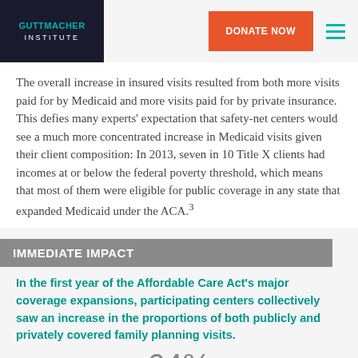GUTTMACHER INSTITUTE | DONATE NOW
The overall increase in insured visits resulted from both more visits paid for by Medicaid and more visits paid for by private insurance. This defies many experts' expectation that safety-net centers would see a much more concentrated increase in Medicaid visits given their client composition: In 2013, seven in 10 Title X clients had incomes at or below the federal poverty threshold, which means that most of them were eligible for public coverage in any state that expanded Medicaid under the ACA.³
IMMEDIATE IMPACT
In the first year of the Affordable Care Act's major coverage expansions, participating centers collectively saw an increase in the proportions of both publicly and privately covered family planning visits.
64%